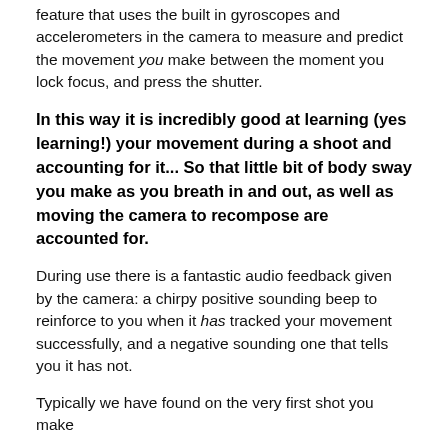feature that uses the built in gyroscopes and accelerometers in the camera to measure and predict the movement you make between the moment you lock focus, and press the shutter.
In this way it is incredibly good at learning (yes learning!) your movement during a shoot and accounting for it... So that little bit of body sway you make as you breath in and out, as well as moving the camera to recompose are accounted for.
During use there is a fantastic audio feedback given by the camera: a chirpy positive sounding beep to reinforce to you when it has tracked your movement successfully, and a negative sounding one that tells you it has not.
Typically we have found on the very first shot you make